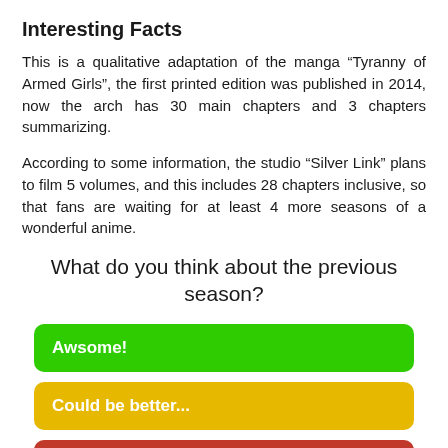Interesting Facts
This is a qualitative adaptation of the manga “Tyranny of Armed Girls”, the first printed edition was published in 2014, now the arch has 30 main chapters and 3 chapters summarizing.
According to some information, the studio “Silver Link” plans to film 5 volumes, and this includes 28 chapters inclusive, so that fans are waiting for at least 4 more seasons of a wonderful anime.
What do you think about the previous season?
Awsome!
Could be better...
Waste.